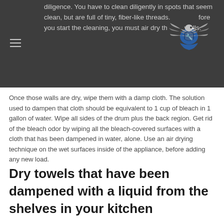diligence. You have to clean diligently in spots that seem clean, but are full of tiny, fiber-like threads. Before you start the cleaning, you must air dry the walls.
[Figure (logo): Eagle/hawk logo with wings spread, holding a shield, in blue and grey colors]
Once those walls are dry, wipe them with a damp cloth. The solution used to dampen that cloth should be equivalent to 1 cup of bleach in 1 gallon of water. Wipe all sides of the drum plus the back region. Get rid of the bleach odor by wiping all the bleach-covered surfaces with a cloth that has been dampened in water, alone. Use an air drying technique on the wet surfaces inside of the appliance, before adding any new load.
Dry towels that have been dampened with a liquid from the shelves in your kitchen